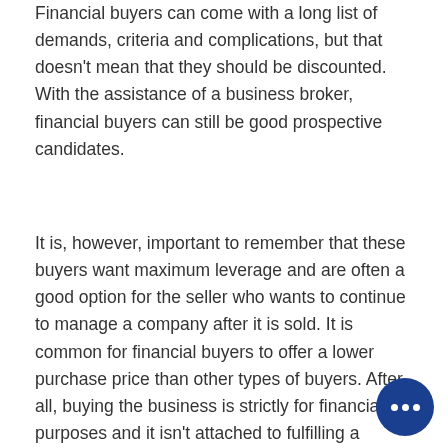Financial buyers can come with a long list of demands, criteria and complications, but that doesn't mean that they should be discounted. With the assistance of a business broker, financial buyers can still be good prospective candidates.
It is, however, important to remember that these buyers want maximum leverage and are often a good option for the seller who wants to continue to manage a company after it is sold. It is common for financial buyers to offer a lower purchase price than other types of buyers. After all, buying the business is strictly for financial purposes and it isn't attached to fulfilling a dream or a